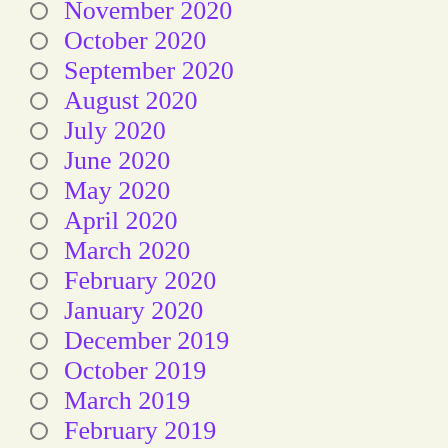November 2020
October 2020
September 2020
August 2020
July 2020
June 2020
May 2020
April 2020
March 2020
February 2020
January 2020
December 2019
October 2019
March 2019
February 2019
January 2019